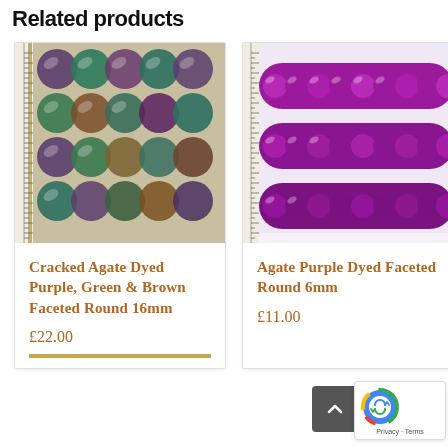Related products
[Figure (photo): Photo of Cracked Agate Dyed Purple, Green & Brown Faceted Round beads with a ruler on the left side showing size reference. Beads are multicolored in purple, green, teal, and brown tones arranged in rows.]
Cracked Agate Dyed Purple, Green & Brown Faceted Round 16mm
£22.00
[Figure (photo): Photo of Agate Purple Dyed Faceted Round 6mm beads, showing bright purple/magenta round beads strung on strands, with a ruler on the left side.]
Agate Purple Dyed Faceted Round 6mm
£11.00